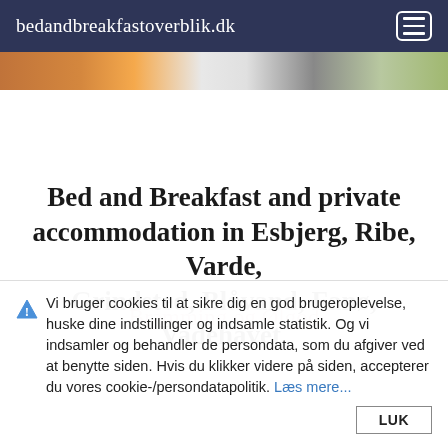bedandbreakfastoverblik.dk
[Figure (photo): Horizontal strip of property/accommodation photos in orange, grey and green tones]
Bed and Breakfast and private accommodation in Esbjerg, Ribe, Varde, Grindsted, Blåvand, Fanø, Vadehavet,
Bramming og Ølgod
Vi bruger cookies til at sikre dig en god brugeroplevelse, huske dine indstillinger og indsamle statistik. Og vi indsamler og behandler de persondata, som du afgiver ved at benytte siden. Hvis du klikker videre på siden, accepterer du vores cookie-/persondatapolitik. Læs mere...